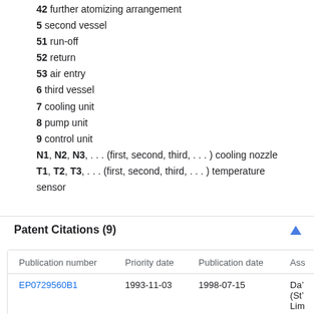42 further atomizing arrangement
5 second vessel
51 run-off
52 return
53 air entry
6 third vessel
7 cooling unit
8 pump unit
9 control unit
N1, N2, N3, . . . (first, second, third, . . . ) cooling nozzle
T1, T2, T3, . . . (first, second, third, . . . ) temperature sensor
Patent Citations (9)
| Publication number | Priority date | Publication date | Ass |
| --- | --- | --- | --- |
| EP0729560B1 | 1993-11-03 | 1998-07-15 | Da’ (St’ Lim |